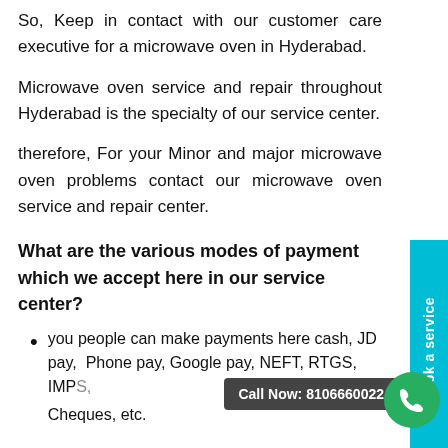So, Keep in contact with our customer care executive for a microwave oven in Hyderabad.
Microwave oven service and repair throughout Hyderabad is the specialty of our service center.
therefore, For your Minor and major microwave oven problems contact our microwave oven service and repair center.
What are the various modes of payment which we accept here in our service center?
you people can make payments here cash, JD pay, Phone pay, Google pay, NEFT, RTGS, IMPS, Cheques, etc.